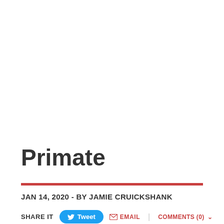Primate
JAN 14, 2020 - BY JAMIE CRUICKSHANK
SHARE IT  Tweet  EMAIL  COMMENTS (0)